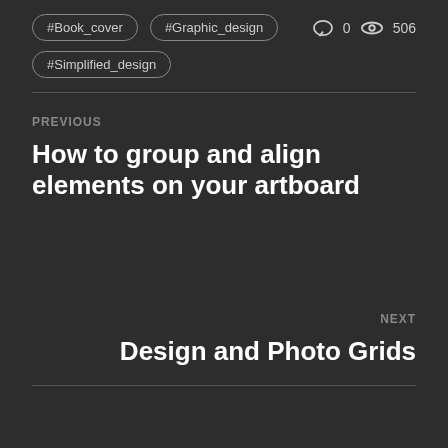#Book_cover
#Graphic_design
0  506
#Simplified_design
PREVIOUS
How to group and align elements on your artboard
NEXT
Design and Photo Grids